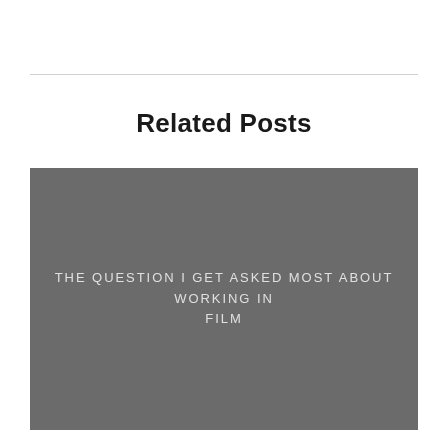Related Posts
[Figure (photo): Grey placeholder image with overlay text reading 'THE QUESTION I GET ASKED MOST ABOUT WORKING IN FILM']